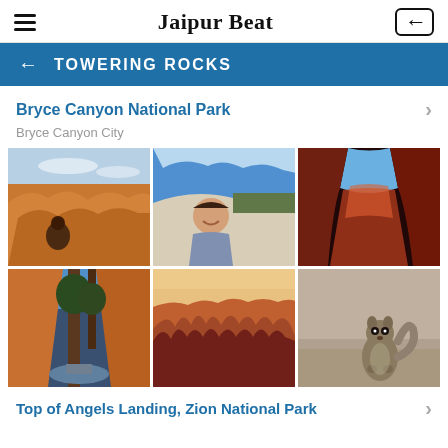Jaipur Beat
TOWERING ROCKS
Bryce Canyon National Park
Bryce Canyon City
[Figure (photo): Six-photo grid showing Bryce Canyon National Park: orange rock formations, hiker selfie, narrow canyon slot, trees and rocks looking up, panoramic hoodoos at sunset, and a squirrel standing upright.]
Top of Angels Landing, Zion National Park